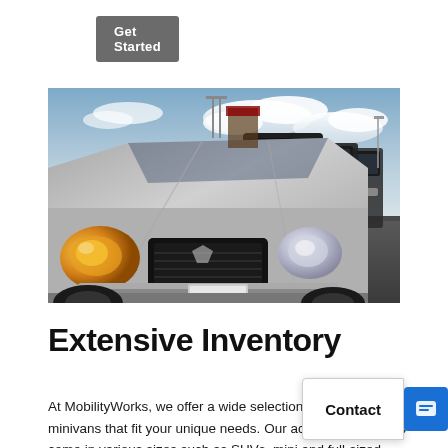Get Started
[Figure (photo): A row of minivans (Dodge Grand Caravans) parked in a dealership lot, photographed from a low angle showing the front-left perspective of the nearest silver van, with more dark vans behind it.]
Extensive Inventory
At MobilityWorks, we offer a wide selection of accessible minivans that fit your unique needs. Our accessible vehicles come in various sizes such as SUVs, mini and full-sized